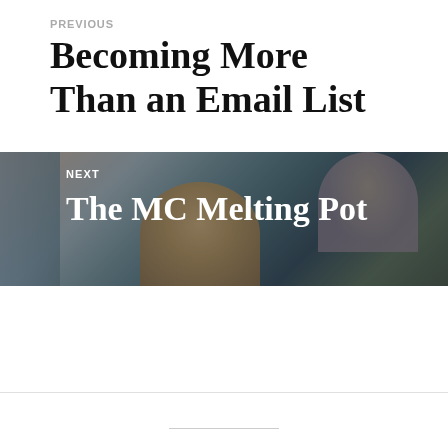PREVIOUS
Becoming More Than an Email List
[Figure (photo): Photo of three young people standing together, used as background for the NEXT navigation block. Text overlay reads NEXT / The MC Melting Pot]
NEXT
The MC Melting Pot
•••